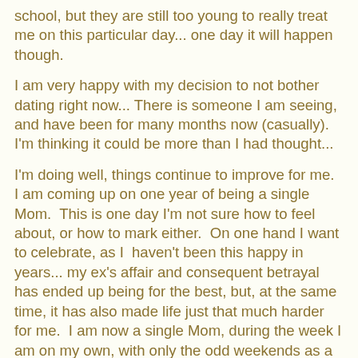school, but they are still too young to really treat me on this particular day... one day it will happen though.
I am very happy with my decision to not bother dating right now... There is someone I am seeing, and have been for many months now (casually).  I'm thinking it could be more than I had thought...
I'm doing well, things continue to improve for me.  I am coming up on one year of being a single Mom.  This is one day I'm not sure how to feel about, or how to mark either.  On one hand I want to celebrate, as I  haven't been this happy in years... my ex's affair and consequent betrayal has ended up being for the best, but, at the same time, it has also made life just that much harder for me.  I am now a single Mom, during the week I am on my own, with only the odd weekends as a break.  I have an even bigger respect for Mom's out there who do it with no help of any kind from the father of their children.  On the other hand, it was a day that my dreams and hope for the future was destroyed... the stable family my boys had was destroyed.  For my boys sake I hurt, through no fault of their of own their lives have